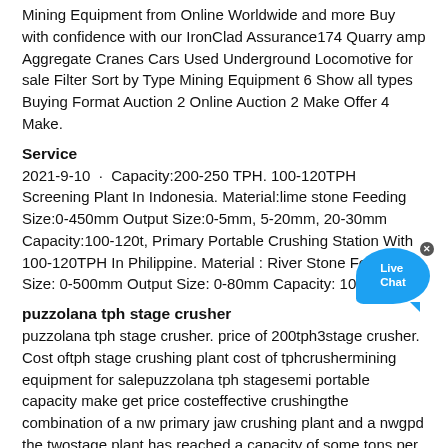Mining Equipment from Online Worldwide and more Buy with confidence with our IronClad Assurance174 Quarry amp Aggregate Cranes Cars Used Underground Locomotive for sale Filter Sort by Type Mining Equipment 6 Show all types Buying Format Auction 2 Online Auction 2 Make Offer 4 Make.
Service
2021-9-10 · Capacity:200-250 TPH. 100-120TPH Screening Plant In Indonesia. Material:lime stone Feeding Size:0-450mm Output Size:0-5mm, 5-20mm, 20-30mm Capacity:100-120t, Primary Portable Crushing Station With 100-120TPH In Philippine. Material : River Stone Feeding Size: 0-500mm Output Size: 0-80mm Capacity: 100-120 t/h
puzzolana tph stage crusher
puzzolana tph stage crusher. price of 200tph3stage crusher. Cost oftph stage crushing plant cost of tphcrushermining equipment for salepuzzolana tph stagesemi portable capacity make get price costeffective crushingthe combination of a nw primary jaw crushing plant and a nwgpd the twostage plant has reached a capacity of some tons per hour
mining mobile crusher and washing lebanon
mining mobile crusher and washing lebanon. Miniature crushing equipment lebanon costs of sand manufacturing and washing oct with the screening system mounted onto the crusher it is easy to produce an exact defined final grain size